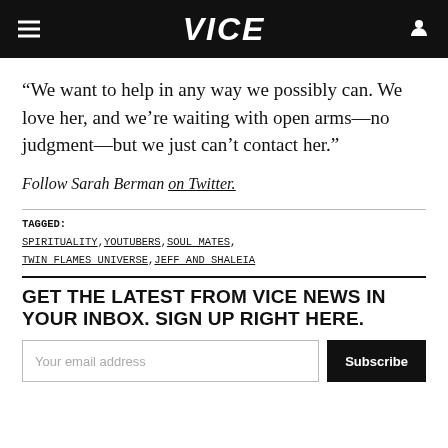VICE
“We want to help in any way we possibly can. We love her, and we’re waiting with open arms—no judgment—but we just can’t contact her.”
Follow Sarah Berman on Twitter.
TAGGED: SPIRITUALITY, YOUTUBERS, SOUL MATES, TWIN FLAMES UNIVERSE, JEFF AND SHALEIA
GET THE LATEST FROM VICE NEWS IN YOUR INBOX. SIGN UP RIGHT HERE.